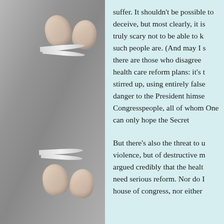[Figure (photo): Close-up photograph of hands holding surgical scissors or needle holders, with blades visible, against a gray background. The image is split — upper portion shows fingers gripping scissors near the top, lower portion shows a similar grip near the bottom.]
suffer. It shouldn't be possible to deceive, but most clearly, it is truly scary not to be able to know such people are. (And may I s there are those who disagree health care reform plans: it's t stirred up, using entirely false danger to the President himse Congresspeople, all of whom One can only hope the Secret

But there's also the threat to u violence, but of destructive m argued credibly that the healt need serious reform. Nor do I house of congress, nor either